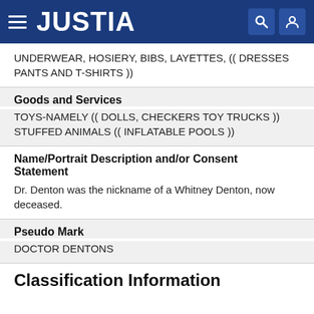JUSTIA
UNDERWEAR, HOSIERY, BIBS, LAYETTES, (( DRESSES PANTS AND T-SHIRTS ))
Goods and Services
TOYS-NAMELY (( DOLLS, CHECKERS TOY TRUCKS )) STUFFED ANIMALS (( INFLATABLE POOLS ))
Name/Portrait Description and/or Consent Statement
Dr. Denton was the nickname of a Whitney Denton, now deceased.
Pseudo Mark
DOCTOR DENTONS
Classification Information